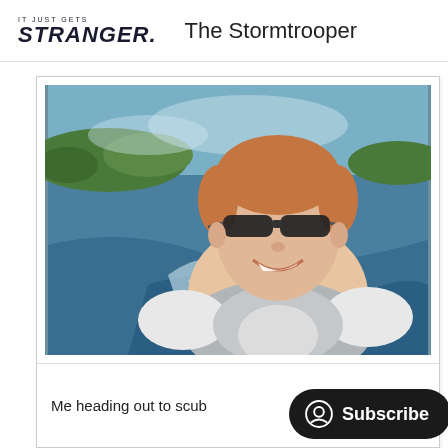IT JUST GETS STRANGER. The Stormtrooper
[Figure (photo): A young man with sunglasses smiling on a boat at sea, wearing a grey and white rash guard. Ocean water with wake visible behind him, tropical island with trees in background.]
Me heading out to scub